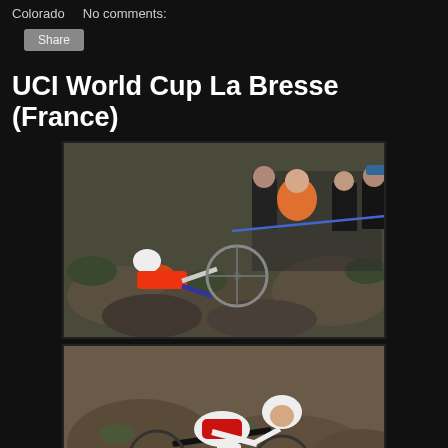Colorado   No comments:
Share
UCI World Cup La Bresse (France)
[Figure (photo): Mountain bike racer crashed on rocky terrain with spectators watching behind a tape barrier]
[Figure (photo): Mountain bike racer navigating rocky descent, leaning forward on bike]